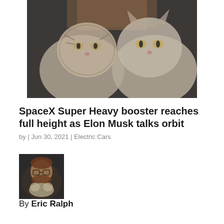[Figure (photo): Blurry close-up photo of two tabby cats held by a person, against a dark background]
SpaceX Super Heavy booster reaches full height as Elon Musk talks orbit
by | Jun 30, 2021 | Electric Cars
[Figure (photo): Small author profile photo showing a bearded man with glasses holding a cat]
By Eric Ralph